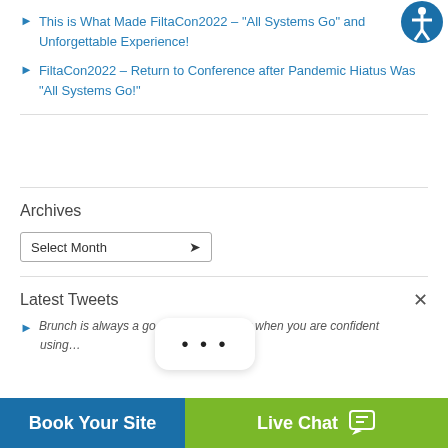This is What Made FiltaCon2022 – "All Systems Go" and Unforgettable Experience!
FiltaCon2022 – Return to Conference after Pandemic Hiatus Was "All Systems Go!"
Archives
Select Month
Latest Tweets
Brunch is always a go... especially when you are confident using...
Book Your Site
Live Chat